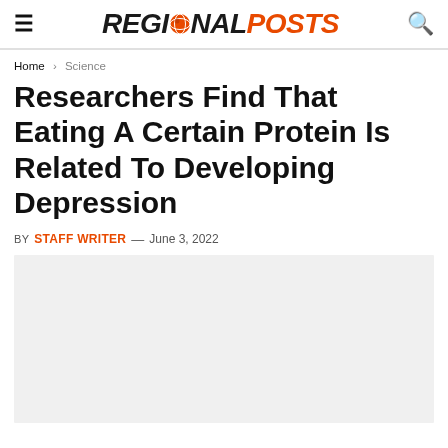REGIONAL POSTS
Home > Science
Researchers Find That Eating A Certain Protein Is Related To Developing Depression
BY STAFF WRITER — June 3, 2022
[Figure (photo): Article hero image placeholder, light gray background]